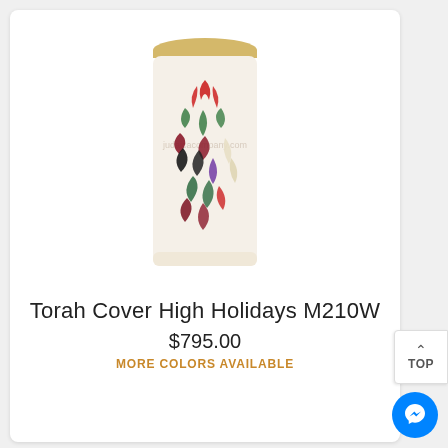[Figure (photo): A white Torah cover with colorful embroidered flame/fire design in red, green, black, maroon, purple, cream, and dark green swirling ribbon patterns. The cover has a gold braided trim at the top.]
Torah Cover High Holidays M210W
$795.00
MORE COLORS AVAILABLE